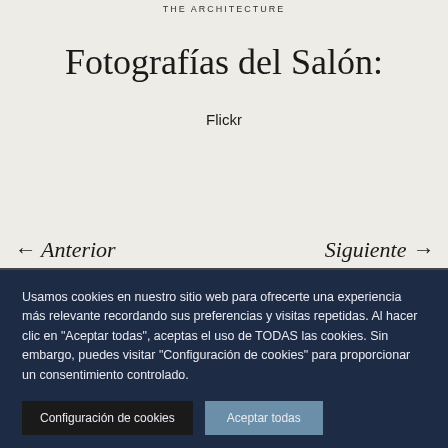THE ARCHITECTURE
Fotografías del Salón:
Flickr
← Anterior
Siguiente →
Usamos cookies en nuestro sitio web para ofrecerte una experiencia más relevante recordando sus preferencias y visitas repetidas. Al hacer clic en "Aceptar todas", aceptas el uso de TODAS las cookies. Sin embargo, puedes visitar "Configuración de cookies" para proporcionar un consentimiento controlado.
Configuración de cookies
Aceptar todas